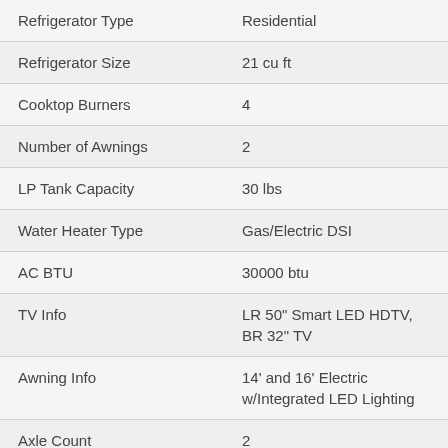| Feature | Value |
| --- | --- |
| Refrigerator Type | Residential |
| Refrigerator Size | 21 cu ft |
| Cooktop Burners | 4 |
| Number of Awnings | 2 |
| LP Tank Capacity | 30 lbs |
| Water Heater Type | Gas/Electric DSI |
| AC BTU | 30000 btu |
| TV Info | LR 50" Smart LED HDTV, BR 32" TV |
| Awning Info | 14' and 16' Electric w/Integrated LED Lighting |
| Axle Count | 2 |